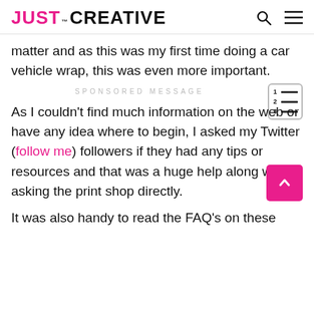JUST™ CREATIVE
matter and as this was my first time doing a car vehicle wrap, this was even more important.
SPONSORED MESSAGE
As I couldn't find much information on the web or have any idea where to begin, I asked my Twitter (follow me) followers if they had any tips or resources and that was a huge help along with asking the print shop directly.
It was also handy to read the FAQ's on these